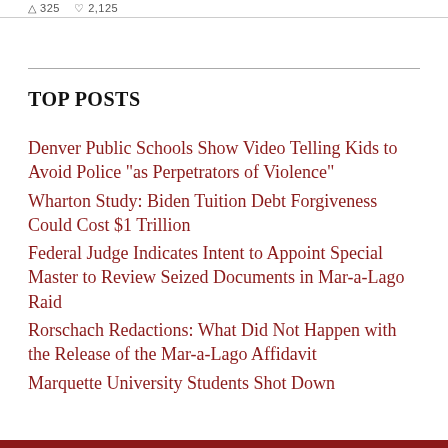325   2,125
TOP POSTS
Denver Public Schools Show Video Telling Kids to Avoid Police "as Perpetrators of Violence"
Wharton Study: Biden Tuition Debt Forgiveness Could Cost $1 Trillion
Federal Judge Indicates Intent to Appoint Special Master to Review Seized Documents in Mar-a-Lago Raid
Rorschach Redactions: What Did Not Happen with the Release of the Mar-a-Lago Affidavit
Marquette University Students Shot Down...